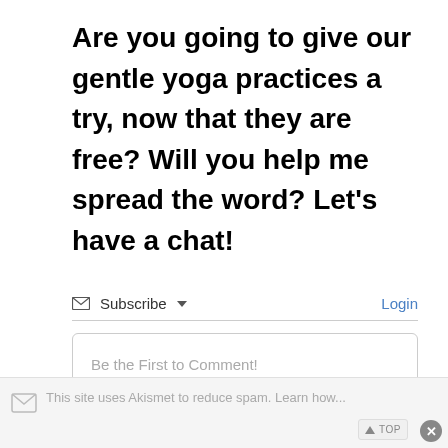Are you going to give our gentle yoga practices a try, now that they are free? Will you help me spread the word? Let's have a chat!
Subscribe ▾   Login
Be the First to Comment!
This site uses Akismet to reduce spam. Learn how...